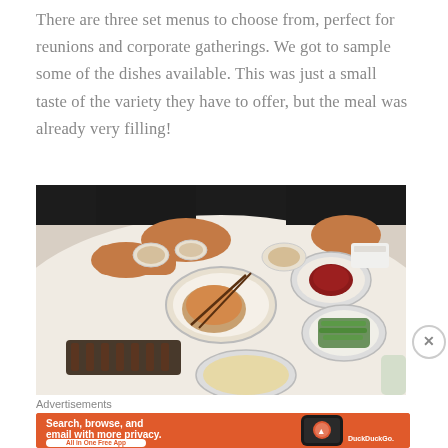There are three set menus to choose from, perfect for reunions and corporate gatherings. We got to sample some of the dishes available. This was just a small taste of the variety they have to offer, but the meal was already very filling!
[Figure (photo): A dining table scene with multiple plates of Chinese food including braised dishes, vegetables, and sauces. People's hands are visible reaching for food.]
Advertisements
[Figure (illustration): DuckDuckGo advertisement banner with orange background. Text reads: Search, browse, and email with more privacy. All in One Free App. Shows a smartphone with DuckDuckGo logo.]